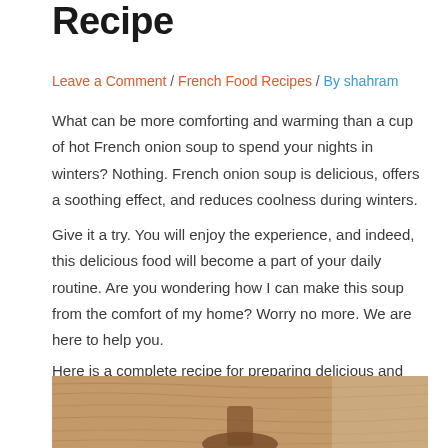Recipe
Leave a Comment / French Food Recipes / By shahram
What can be more comforting and warming than a cup of hot French onion soup to spend your nights in winters? Nothing. French onion soup is delicious, offers a soothing effect, and reduces coolness during winters.
Give it a try. You will enjoy the experience, and indeed, this delicious food will become a part of your daily routine. Are you wondering how I can make this soup from the comfort of my home? Worry no more. We are here to help you.
Here is a complete recipe for preparing delicious and yummy French onion soup from the comfort of your kitchen. So, stay tuned to us and follow the instructions given below.
[Figure (photo): Wooden surface with a spoon, top portion of a food photo]